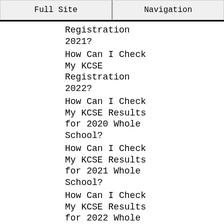Full Site | Navigation
Registration 2021?
How Can I Check My KCSE Registration 2022?
How Can I Check My KCSE Results for 2020 Whole School?
How Can I Check My KCSE Results for 2021 Whole School?
How Can I Check My KCSE Results for 2022 Whole School?
How Can I Check My KCSE Results Online?
How Can I Check My Knec Certificate?
How Can I Check My Knec Result via Sms?
How Can I Get Good Marks in KCSE?
How Can I Get KCSE Result From